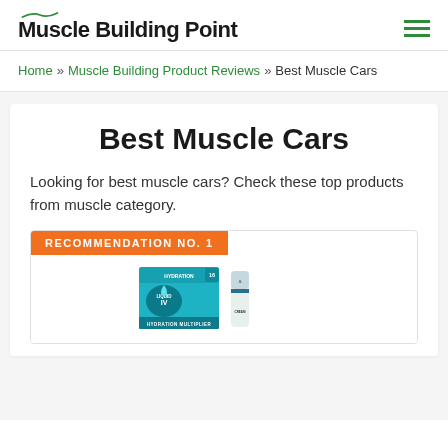[Figure (logo): Muscle Building Point logo with green accent swoosh above bold black text and green hamburger menu icon]
Home » Muscle Building Product Reviews » Best Muscle Cars
Best Muscle Cars
Looking for best muscle cars? Check these top products from muscle category.
[Figure (photo): RECOMMENDATION NO. 1 orange label above product images including Liquid IV Hydration Multiplier box and a small tube product]